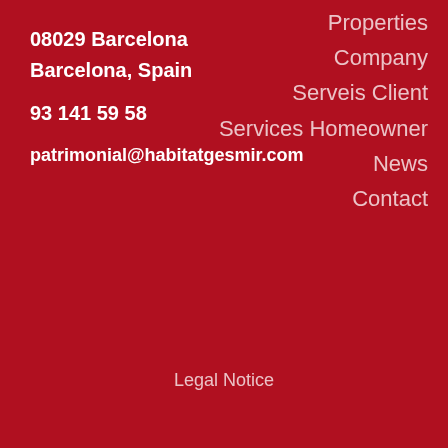08029 Barcelona
Barcelona, Spain
93 141 59 58
patrimonial@habitatgesmir.com
Properties
Company
Serveis Client
Services Homeowner
News
Contact
Legal Notice
registre d'agents immobiliaris de Catalunya  aicat  A12279